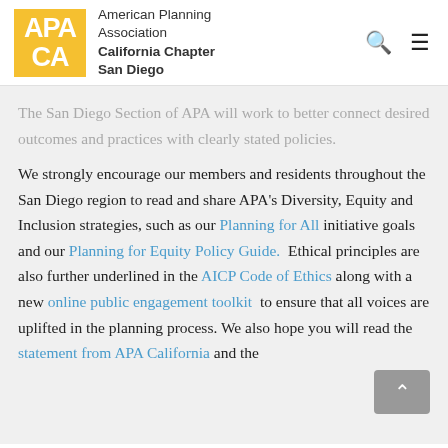[Figure (logo): APA CA logo — American Planning Association California Chapter San Diego]
The San Diego Section of APA will work to better connect desired outcomes and practices with clearly stated policies.
We strongly encourage our members and residents throughout the San Diego region to read and share APA's Diversity, Equity and Inclusion strategies, such as our Planning for All initiative goals and our Planning for Equity Policy Guide. Ethical principles are also further underlined in the AICP Code of Ethics along with a new online public engagement toolkit to ensure that all voices are uplifted in the planning process. We also hope you will read the statement from APA California and the